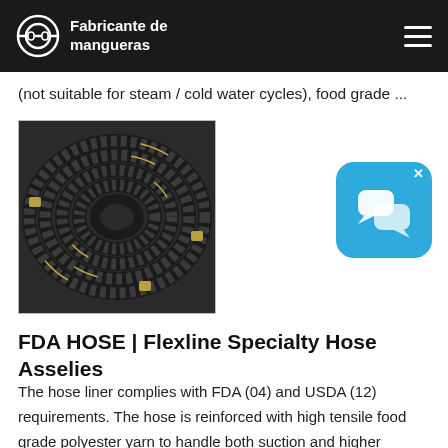Fabricante de mangueras
(not suitable for steam / cold water cycles), food grade ...
[Figure (photo): Coiled black industrial hoses with brass fittings on a grey surface]
[Figure (other): Blue chat/messaging app icon widget with X close button]
FDA HOSE | Flexline Specialty Hose Asselies
The hose liner complies with FDA (04) and USDA (12) requirements. The hose is reinforced with high tensile food grade polyester yarn to handle both suction and higher pressure discharge appliions. 2020 remains flexible in sub-zero temperatures. The external PVC helix